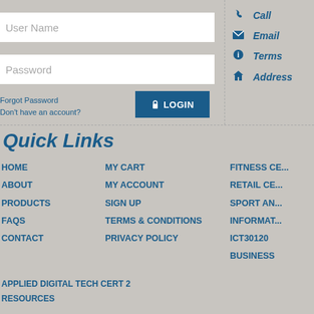User Name
Password
Forgot Password
Don't have an account?
LOGIN
Call
Email
Terms
Address
Quick Links
HOME
ABOUT
PRODUCTS
FAQs
CONTACT
MY CART
MY ACCOUNT
SIGN UP
TERMS & CONDITIONS
PRIVACY POLICY
FITNESS CE...
RETAIL CE...
SPORT AN...
INFORMAT...
ICT30120
BUSINESS
APPLIED DIGITAL TECH CERT 2
RESOURCES